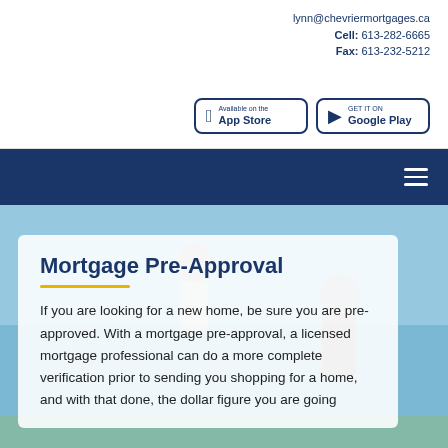lynn@chevriermortgages.ca
Cell: 613-282-6665
Fax: 613-232-5212
[Figure (screenshot): App Store and Google Play download buttons]
[Figure (photo): Navigation bar with hamburger menu icon on dark blue background]
[Figure (photo): Hero image of a couple running joyfully outdoors against a blue sky background]
Mortgage Pre-Approval
If you are looking for a new home, be sure you are pre-approved. With a mortgage pre-approval, a licensed mortgage professional can do a more complete verification prior to sending you shopping for a home, and with that done, the dollar figure you are going